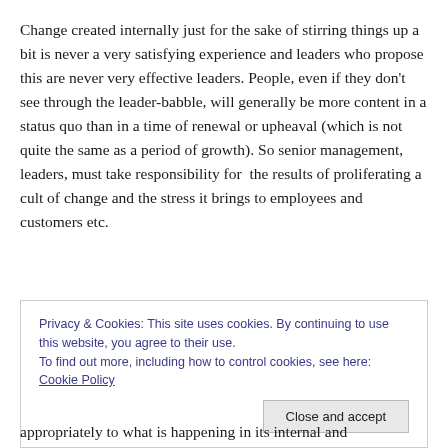Change created internally just for the sake of stirring things up a bit is never a very satisfying experience and leaders who propose this are never very effective leaders. People, even if they don't see through the leader-babble, will generally be more content in a status quo than in a time of renewal or upheaval (which is not quite the same as a period of growth). So senior management, leaders, must take responsibility for  the results of proliferating a cult of change and the stress it brings to employees and customers etc.
Privacy & Cookies: This site uses cookies. By continuing to use this website, you agree to their use.
To find out more, including how to control cookies, see here: Cookie Policy
appropriately to what is happening in its internal and